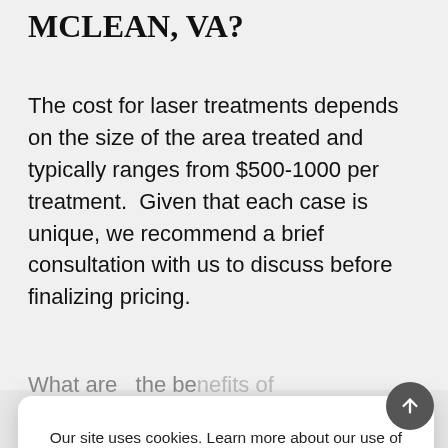MCLEAN, VA?
The cost for laser treatments depends on the size of the area treated and typically ranges from $500-1000 per treatment.  Given that each case is unique, we recommend a brief consultation with us to discuss before finalizing pricing.
What are the benefits of...
Our site uses cookies. Learn more about our use of cookies: cookie policy
ACCEPT